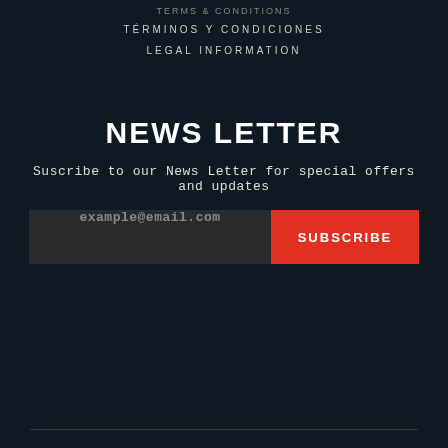TÉRMINOS Y CONDICIONES
LEGAL INFORMATION
NEWS LETTER
Suscribe to our News Letter for special offers and updates
[Figure (other): Email subscription form with text input placeholder 'example@email.com' and a red SUBSCRIBE button]